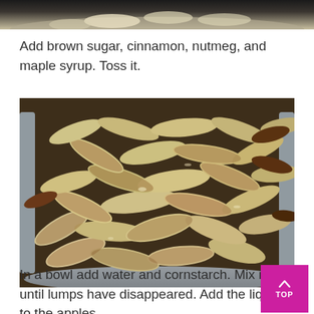[Figure (photo): Top portion of a bowl with sliced apples, cropped at top of page]
Add brown sugar, cinnamon, nutmeg, and maple syrup. Toss it.
[Figure (photo): A large metal bowl filled with sliced apples tossed in cinnamon and sugar mixture]
In a bowl add water and cornstarch. Mix it until lumps have disappeared. Add the liquid to the apples